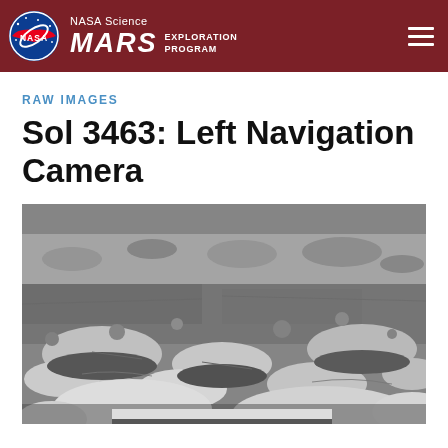NASA Science MARS EXPLORATION PROGRAM
RAW IMAGES
Sol 3463: Left Navigation Camera
[Figure (photo): Black and white raw image from the Mars Curiosity rover's Left Navigation Camera (Sol 3463), showing Martian rocky terrain with various sized stones and rocky outcrops on the surface.]